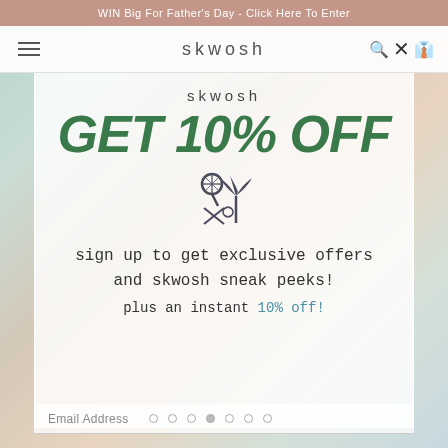WIN Big For Father's Day - Click Here To Enter
skwosh
GET 10% OFF
sign up to get exclusive offers and skwosh sneak peeks!
plus an instant 10% off!
Email Address